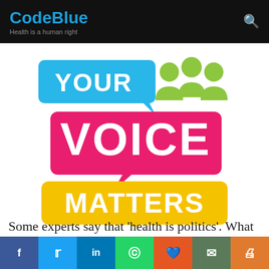CodeBlue — Health is a human right
[Figure (logo): Your Voice Matters logo with speech bubbles in blue, pink/red, and yellow with white text, and green people icons]
Some experts say that 'health is politics'. What